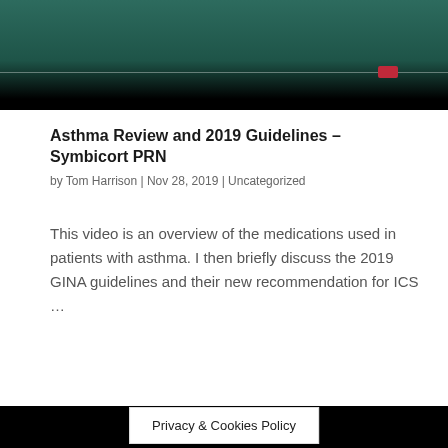[Figure (screenshot): Website header banner with dark teal/green gradient background fading to black, with a small red rectangle indicator on the right side and a thin horizontal line.]
Asthma Review and 2019 Guidelines – Symbicort PRN
by Tom Harrison | Nov 28, 2019 | Uncategorized
This video is an overview of the medications used in patients with asthma. I then briefly discuss the 2019 GINA guidelines and their new recommendation for ICS ...
Privacy & Cookies Policy